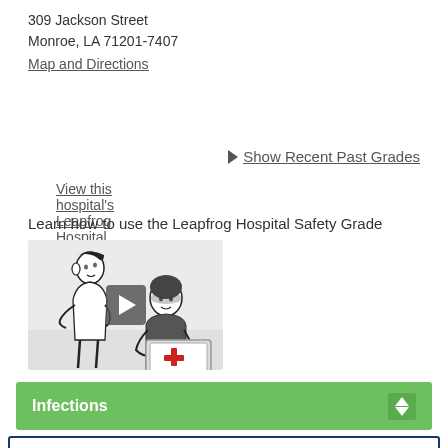309 Jackson Street
Monroe, LA 71201-7407
Map and Directions
View this hospital's Leapfrog Hospital Survey Results
▶ Show Recent Past Grades
Learn how to use the Leapfrog Hospital Safety Grade
[Figure (screenshot): Video thumbnail showing cartoon illustration of a doctor and patient with a laptop displaying a red cross, with a play button overlay]
Infections